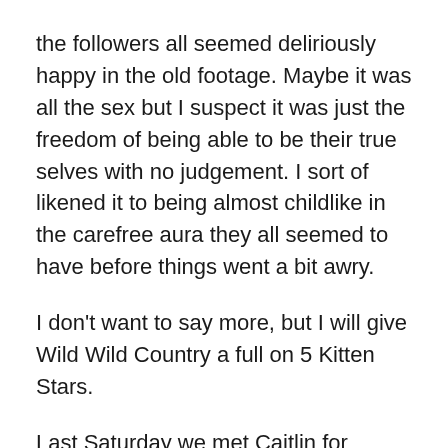the followers all seemed deliriously happy in the old footage. Maybe it was all the sex but I suspect it was just the freedom of being able to be their true selves with no judgement. I sort of likened it to being almost childlike in the carefree aura they all seemed to have before things went a bit awry.
I don't want to say more, but I will give Wild Wild Country a full on 5 Kitten Stars.
Last Saturday we met Caitlin for brunch at Martins Bakery. Martins is owned by Caitlin's fella Wesley's aunt and uncle.
I feel like I seldom see Caitlin now that she has